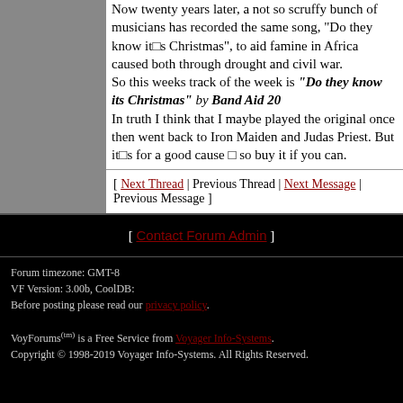Now twenty years later, a not so scruffy bunch of musicians has recorded the same song, "Do they know it's Christmas", to aid famine in Africa caused both through drought and civil war. So this weeks track of the week is "Do they know its Christmas" by Band Aid 20 In truth I think that I maybe played the original once then went back to Iron Maiden and Judas Priest. But it's for a good cause — so buy it if you can.
[ Next Thread | Previous Thread | Next Message | Previous Message ]
[ Contact Forum Admin ]
Forum timezone: GMT-8
VF Version: 3.00b, CoolDB:
Before posting please read our privacy policy.
VoyForums(tm) is a Free Service from Voyager Info-Systems.
Copyright © 1998-2019 Voyager Info-Systems. All Rights Reserved.